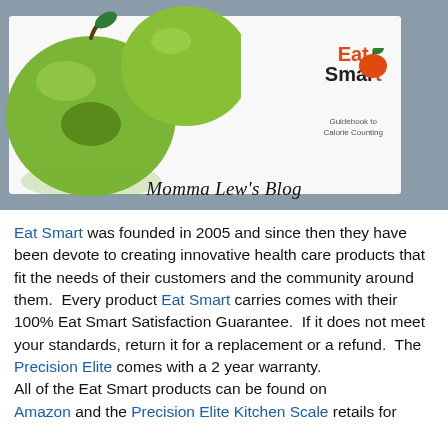[Figure (photo): Photo of an EatSmart Guidebook to Calorie Counting booklet on a gray surface with green apple imagery, and 'Momma Lew's Blog' text at the bottom of the photo]
Eat Smart was founded in 2005 and since then they have been devote to creating innovative health care products that fit the needs of their customers and the community around them.  Every product Eat Smart carries comes with their 100% Eat Smart Satisfaction Guarantee.  If it does not meet your standards, return it for a replacement or a refund.  The Precision Elite comes with a 2 year warranty.
All of the Eat Smart products can be found on Amazon and the Precision Elite Kitchen Scale retails for